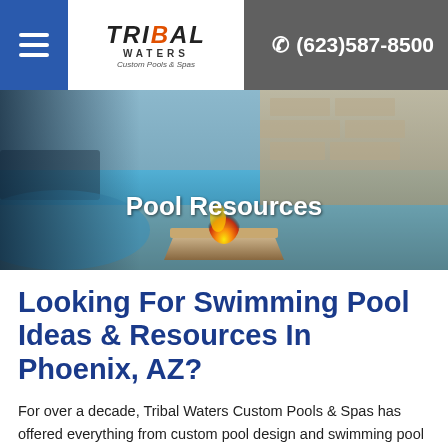Tribal Waters Custom Pools & Spas — (623)587-8500
[Figure (photo): Hero image of a custom swimming pool with a fire bowl in the foreground, stone wall features in the background, with text overlay 'Pool Resources']
Looking For Swimming Pool Ideas & Resources In Phoenix, AZ?
For over a decade, Tribal Waters Custom Pools & Spas has offered everything from custom pool design and swimming pool construction to pool renovations for customers in the Greater Phoenix Area. Our custom pool builders are always eager to